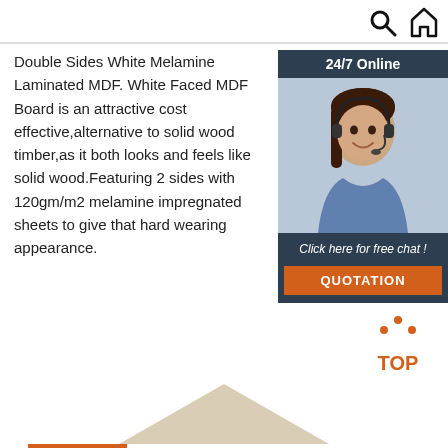[Figure (screenshot): Top navigation icons: search (magnifying glass) and home icons]
Double Sides White Melamine Laminated MDF. White Faced MDF Board is an attractive cost effective,alternative to solid wood timber,as it both looks and feels like solid wood.Featuring 2 sides with 120gm/m2 melamine impregnated sheets to give that hard wearing appearance.
[Figure (illustration): Orange 'Get Price' button]
[Figure (infographic): 24/7 Online chat widget with agent photo, 'Click here for free chat!' text and orange QUOTATION button]
[Figure (illustration): Orange TOP scroll-to-top button with dots icon]
[Figure (illustration): Light brown/beige triangular decorative shape at bottom]